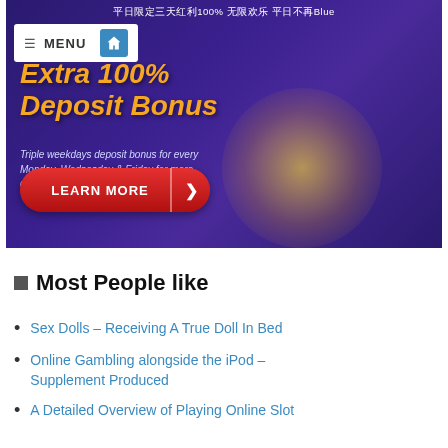[Figure (screenshot): Online casino promotional banner with purple/blue background, woman in golden dress, 'Extra 100% Deposit Bonus' text in orange italic, subtitle about triple weekdays deposit bonus, red 'LEARN MORE' button, Chinese text at top, and white menu bar overlay.]
Most People like
Sex Dolls – Receiving A True Doll In Bed
Online Gambling alongside the iPod – Supplement Produced
A Detailed Overview of Playing Online Slot